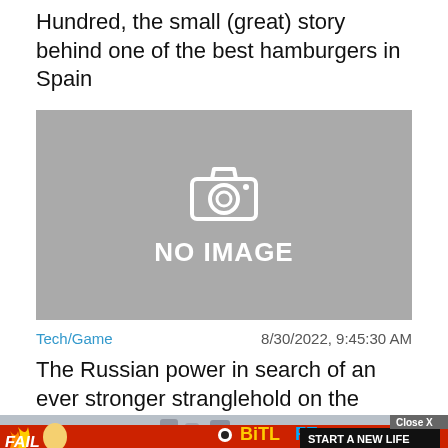Hundred, the small (great) story behind one of the best hamburgers in Spain
[Figure (photo): Gray placeholder box with camera icon and 'NO IMAGE' text]
Tech/Game   8/30/2022, 9:45:30 AM
The Russian power in search of an ever stronger stranglehold on the Internet
[Figure (photo): Partially visible photo with people; overlaid with advertisement banner (BitLife - Start a New Life) and Close X button]